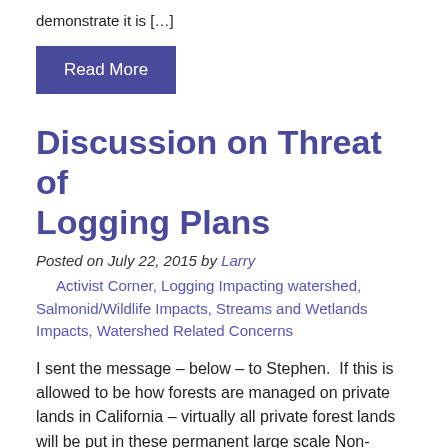demonstrate it is […]
Read More
Discussion on Threat of Logging Plans
Posted on July 22, 2015 by Larry
Activist Corner, Logging Impacting watershed, Salmonid/Wildlife Impacts, Streams and Wetlands Impacts, Watershed Related Concerns
I sent the message – below – to Stephen.  If this is allowed to be how forests are managed on private lands in California – virtually all private forest lands will be put in these permanent large scale Non-industrial Timber Management Plans (NTMPs) – with no future